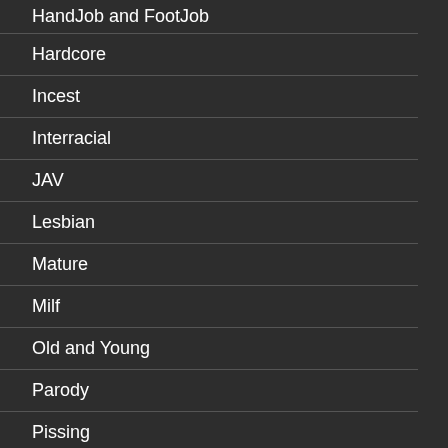HandJob and FootJob
Hardcore
Incest
Interracial
JAV
Lesbian
Mature
Milf
Old and Young
Parody
Pissing